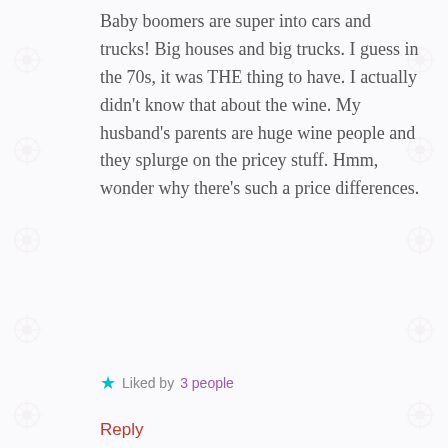Baby boomers are super into cars and trucks! Big houses and big trucks. I guess in the 70s, it was THE thing to have. I actually didn't know that about the wine. My husband's parents are huge wine people and they splurge on the pricey stuff. Hmm, wonder why there's such a price differences.
★ Liked by 3 people
Reply
DGGYST
JUNE 29, 2017 AT 7:55 PM
Exactly! Yea, I don't know why that is with the